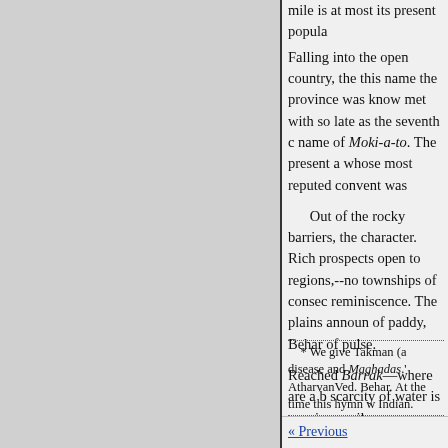mile is at most its present popula
Falling into the open country, the this name the province was know met with so late as the seventh c name of Moki-a-to. The present a whose most reputed convent was
Out of the rocky barriers, the character. Rich prospects open to regions,--no townships of consec reminiscence. The plains announ of paddy, Behar of pulse.
Reached Barrak—where are a b scarcity of water is a serious evil
* We give Takman (a disease and Maghadas.' AtharvanVed. Behar. At the time this hymn w Indian.
« Previous